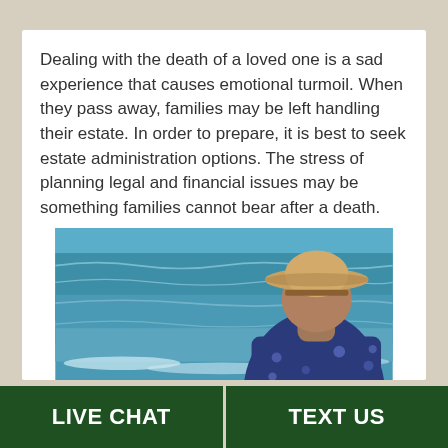Dealing with the death of a loved one is a sad experience that causes emotional turmoil. When they pass away, families may be left handling their estate. In order to prepare, it is best to seek estate administration options. The stress of planning legal and financial issues may be something families cannot bear after a death.
[Figure (photo): An elderly person viewed from behind, wearing a straw hat and dark floral Hawaiian shirt, looking out over ocean waves.]
LIVE CHAT   TEXT US